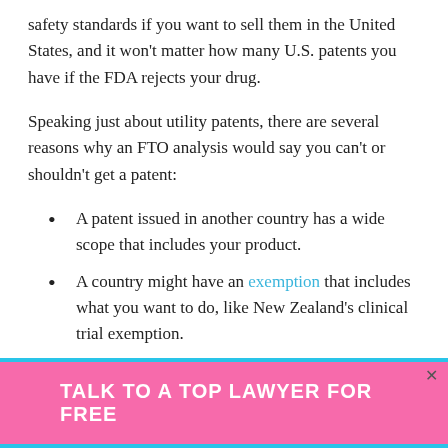safety standards if you want to sell them in the United States, and it won't matter how many U.S. patents you have if the FDA rejects your drug.
Speaking just about utility patents, there are several reasons why an FTO analysis would say you can't or shouldn't get a patent:
A patent issued in another country has a wide scope that includes your product.
A country might have an exemption that includes what you want to do, like New Zealand's clinical trial exemption.
A patent that expired covers your product.
A patent lapsed because the holder stopped
TALK TO A TOP LAWYER FOR FREE